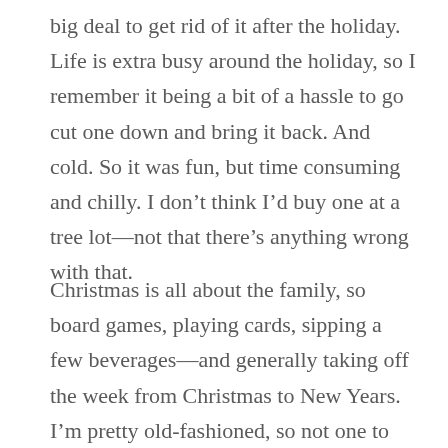big deal to get rid of it after the holiday. Life is extra busy around the holiday, so I remember it being a bit of a hassle to go cut one down and bring it back. And cold. So it was fun, but time consuming and chilly. I don't think I'd buy one at a tree lot—not that there's anything wrong with that.
Christmas is all about the family, so board games, playing cards, sipping a few beverages—and generally taking off the week from Christmas to New Years. I'm pretty old-fashioned, so not one to come up with new traditions. But it's fun to think about. Let me